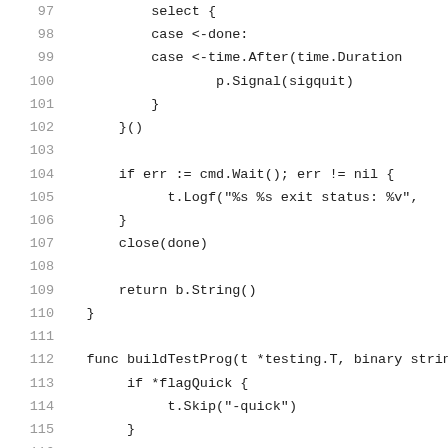97  select {
98  case <-done:
99  case <-time.After(time.Duration
100         p.Signal(sigquit)
101         }
102  }()
103  
104  if err := cmd.Wait(); err != nil {
105      t.Logf("%s %s exit status: %v",
106  }
107  close(done)
108  
109  return b.String()
110  }
111  
112  func buildTestProg(t *testing.T, binary string,
113      if *flagQuick {
114          t.Skip("-quick")
115      }
116  
117      testprog.Lock()